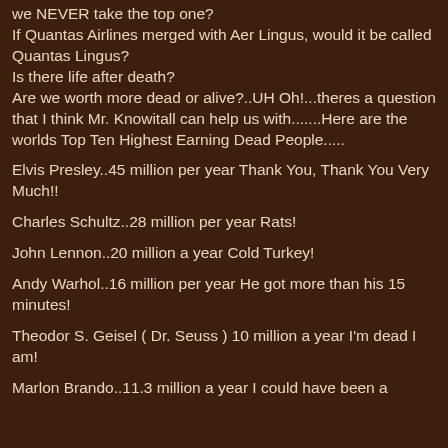we NEVER take the top one?
If Quantas Airlines merged with Aer Lingus, would it be called Quantas Lingus?
Is there life after death?
Are we worth more dead or alive?..UH Oh!...theres a question that I think Mr. Knowitall can help us with.......Here are the worlds Top Ten Highest Earning Dead People.....
Elvis Presley..45 million per year Thank You, Thank You Very Much!!
Charles Schultz..28 million per year Rats!
John Lennon..20 million a year Cold Turkey!
Andy Warhol..16 million per year He got more than his 15 minutes!
Theodor S. Geisel ( Dr. Seuss ) 10 million a year I'm dead I am!
Marlon Brando..11.3 million a year I could have been a